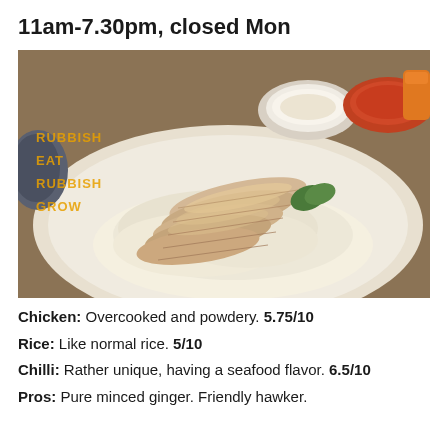11am-7.30pm, closed Mon
[Figure (photo): A plate of Hainanese chicken rice with sliced poached chicken on top of rice, with small bowls of chilli sauce and ginger sauce in the background. A watermark reading RUBBISH EAT RUBBISH GROW is visible in the upper left corner.]
Chicken: Overcooked and powdery. 5.75/10
Rice: Like normal rice. 5/10
Chilli: Rather unique, having a seafood flavor. 6.5/10
Pros: Pure minced ginger. Friendly hawker.